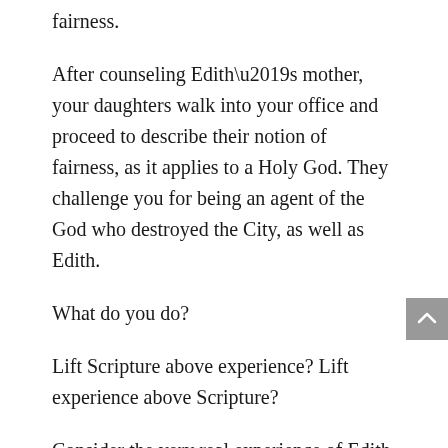fairness.
After counseling Edith’s mother, your daughters walk into your office and proceed to describe their notion of fairness, as it applies to a Holy God. They challenge you for being an agent of the God who destroyed the City, as well as Edith.
What do you do?
Lift Scripture above experience? Lift experience above Scripture?
Consider the very real experience of Edith and